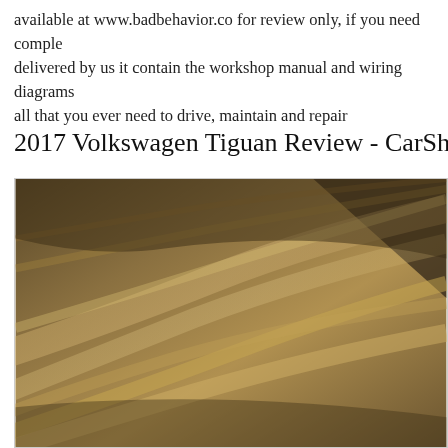available at www.badbehavior.co for review only, if you need comple delivered by us it contain the workshop manual and wiring diagrams all that you ever need to drive, maintain and repair
2017 Volkswagen Tiguan Review - CarShowr
[Figure (photo): Close-up photo of sandy/desert surface with diagonal light streaks and texture, shown in warm brown and tan tones.]